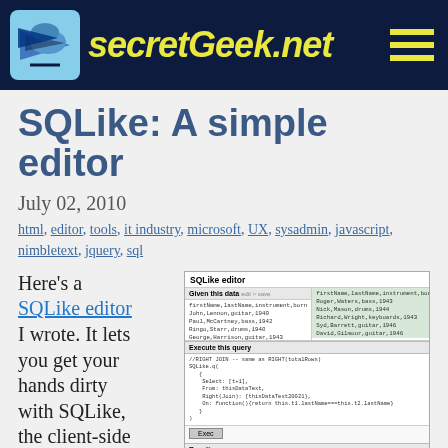secretGeek.net
SQLike: A simple editor
July 02, 2010
html, editor, tools, it industry, microsoft, UX, sysadmin, javascript, nimbletext, jquery, sql
Here's a SQLike editor I wrote. It lets you get your hands dirty with SQLike, the client-side
[Figure (screenshot): Screenshot of SQLike editor web application showing data input panel, SQL query panel with Execute button, and result table with joined data columns including firstName, lastName, instrument, born fields]